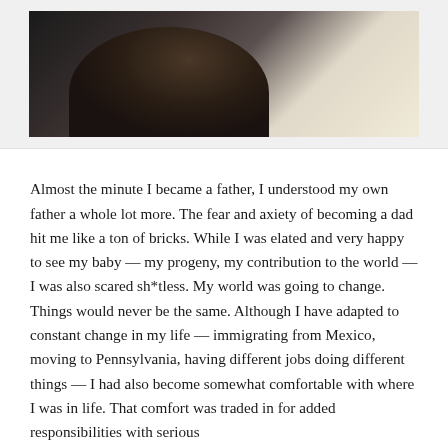[Figure (photo): Person viewed from behind, sitting in a car looking out the window, dark hair visible, wearing a light blue/grey top]
Almost the minute I became a father, I understood my own father a whole lot more. The fear and axiety of becoming a dad hit me like a ton of bricks. While I was elated and very happy to see my baby — my progeny, my contribution to the world — I was also scared sh*tless. My world was going to change. Things would never be the same. Although I have adapted to constant change in my life — immigrating from Mexico, moving to Pennsylvania, having different jobs doing different things — I had also become somewhat comfortable with where I was in life. That comfort was traded in for added responsibilities with serious